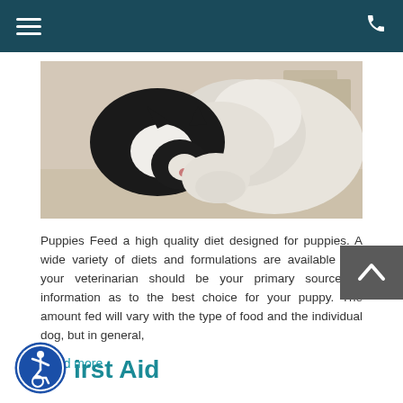Navigation bar with hamburger menu and phone icon
[Figure (photo): A black and white cat and a white fluffy dog eating or sniffing from the same bowl, photographed from above on a light floor with boxes in background]
Puppies Feed a high quality diet designed for puppies. A wide variety of diets and formulations are available and your veterinarian should be your primary source of information as to the best choice for your puppy. The amount fed will vary with the type of food and the individual dog, but in general,
Read more
First Aid